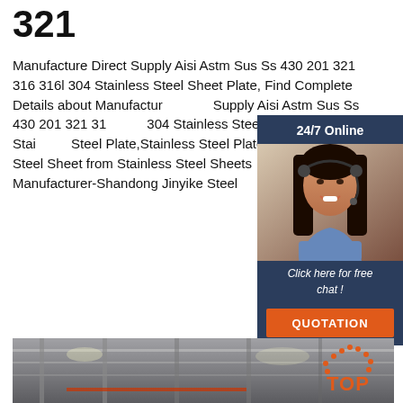321
Manufacture Direct Supply Aisi Astm Sus Ss 430 201 321 316 316l 304 Stainless Steel Sheet Plate, Find Complete Details about Manufacture Direct Supply Aisi Astm Sus Ss 430 201 321 316 316l 304 Stainless Steel Sheet Plate,Aisi Stainless Steel Plate,Stainless Steel Plate,Astm Stainless Steel Sheet from Stainless Steel Sheets or Manufacturer-Shandong Jinyike Steel
[Figure (infographic): 24/7 Online chat widget with a woman wearing a headset, dark blue background, 'Click here for free chat!' text and an orange QUOTATION button]
[Figure (photo): Industrial factory interior showing steel beams and manufacturing equipment with hazy atmosphere. TOP badge with orange dots and text in lower right.]